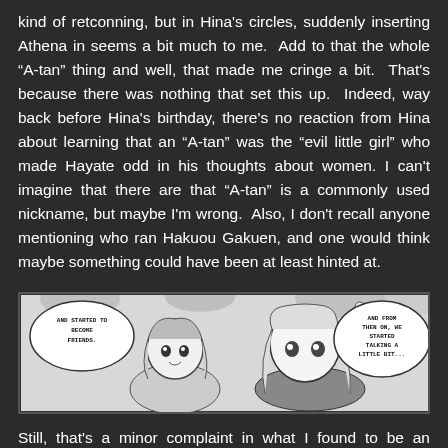kind of retconning, but in Hina's circles, suddenly inserting Athena in seems a bit much to me.  Add to that the whole “A-tan” thing and well, that made me cringe a bit.  That's because there was nothing that set this up.  Indeed, way back before Hina's birthday, there's no reaction from Hina about learning that an “A-tan” was the “evil little girl” who made Hayate odd in his thoughts about women. I can't imagine that there are that “A-tan” is a commonly used nickname, but maybe I'm wrong.  Also, I don't recall anyone mentioning who ran Hakuou Gakuen, and one would think maybe something could have been at least hinted at.
[Figure (illustration): Manga panel showing two anime-style characters. On the left is a girl with long hair and a speech bubble reading 'AND STARTED TO BECOME FRIENDS.' On the right is another character with long light hair and a speech bubble reading 'AND FROM THEN ON, WE STARTED TALKING A LITTLE BIT...' Background shows foliage/trees.]
Still, that's a minor complaint in what I found to be an otherwise